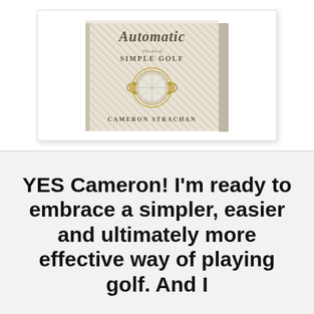[Figure (photo): Book cover of 'Automatic: The Art of Simple Golf' by Cameron Strachan, shown as a 3D book with diagonal stripe pattern background, gold laurel wreath with golf ball emblem, and author name at bottom]
YES Cameron! I'm ready to embrace a simpler, easier and ultimately more effective way of playing golf. And I